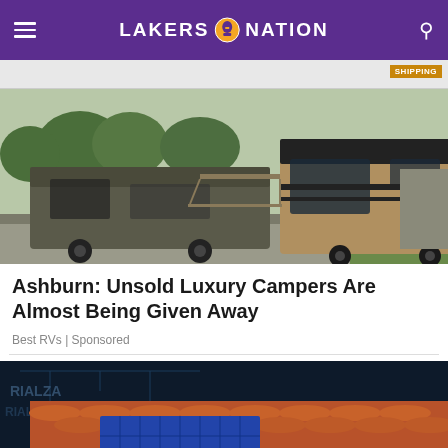LAKERS NATION
[Figure (photo): Advertisement strip with shipping badge]
[Figure (photo): Photo of luxury RVs/motorhomes parked in a campground with trees in background]
Ashburn: Unsold Luxury Campers Are Almost Being Given Away
Best RVs | Sponsored
[Figure (photo): Photo of a roof with solar panels installation, dark background with text RIALZATO]